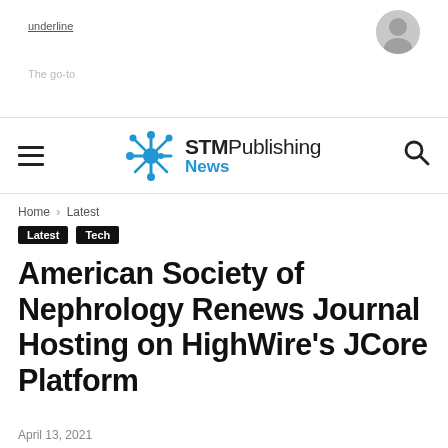underline
The go-to
[Figure (logo): STM Publishing News logo with blue molecular/network icon]
Home › Latest
Latest  Tech
American Society of Nephrology Renews Journal Hosting on HighWire's JCore Platform
April 13, 2021